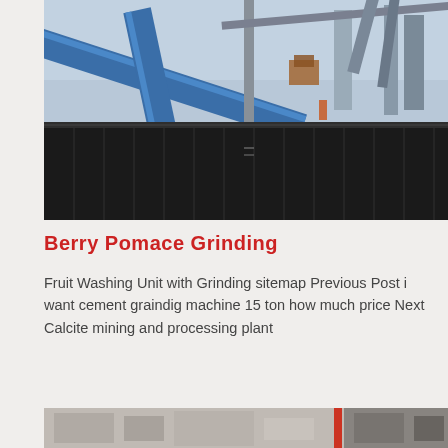[Figure (photo): Industrial facility with blue conveyor pipes and belt conveyors crossing overhead, dark corrugated storage building in foreground]
Berry Pomace Grinding
Fruit Washing Unit with Grinding sitemap Previous Post i want cement graindig machine 15 ton how much price Next Calcite mining and processing plant
[Figure (photo): Partial view of industrial machinery, appears to be grinding or processing equipment]